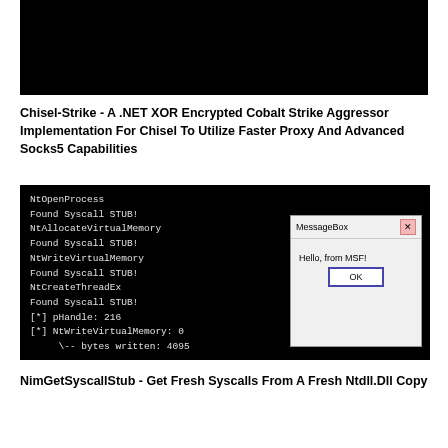[Figure (screenshot): Black terminal/code screenshot at the top of the page]
Chisel-Strike - A .NET XOR Encrypted Cobalt Strike Aggressor Implementation For Chisel To Utilize Faster Proxy And Advanced Socks5 Capabilities
[Figure (screenshot): Terminal output showing NtOpenProcess, NtAllocateVirtualMemory, NtWriteVirtualMemory, NtCreateThreadEx syscall stubs found, pHandle: 216, NtWriteVirtualMemory: 0, bytes written: 4095, alongside a Windows MessageBox popup saying 'Hello, from MSF!' with an OK button]
NimGetSyscallStub - Get Fresh Syscalls From A Fresh Ntdll.Dll Copy